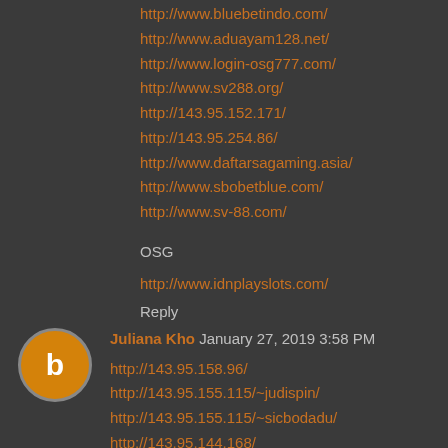http://www.bluebetindo.com/
http://www.aduayam128.net/
http://www.login-osg777.com/
http://www.sv288.org/
http://143.95.152.171/
http://143.95.254.86/
http://www.daftarsagaming.asia/
http://www.sbobetblue.com/
http://www.sv-88.com/
OSG
http://www.idnplayslots.com/
Reply
Juliana Kho  January 27, 2019 3:58 PM
http://143.95.158.96/
http://143.95.155.115/~judispin/
http://143.95.155.115/~sicbodadu/
http://143.95.144.168/